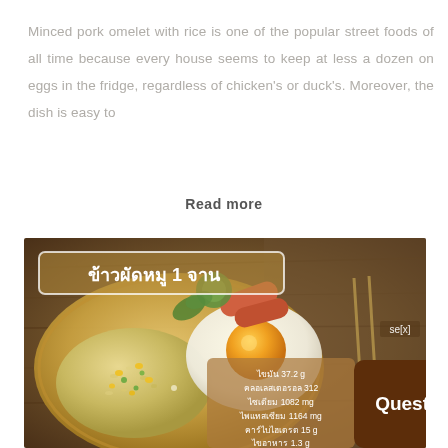Minced pork omelet with rice is one of the popular street foods of all time because every house seems to keep at less a dozen on eggs in the fridge, regardless of chicken's or duck's. Moreover, the dish is easy to
Read more
[Figure (photo): Photo of fried rice with egg on a wooden plate (Thai street food), with Thai text overlay 'ข้าวผัดหมู 1 จาน' (pork fried rice 1 serving), nutrition info box in Thai, and a brown 'Questionnaire' button overlay.]